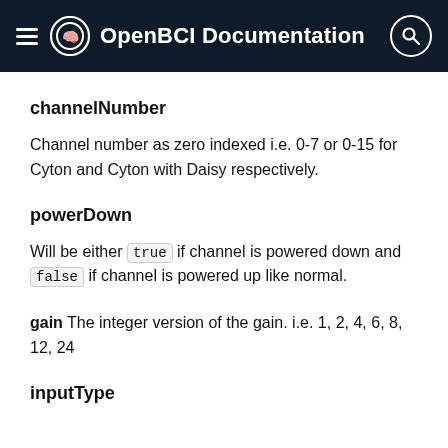OpenBCI Documentation
channelNumber
Channel number as zero indexed i.e. 0-7 or 0-15 for Cyton and Cyton with Daisy respectively.
powerDown
Will be either true if channel is powered down and false if channel is powered up like normal.
gain
gain The integer version of the gain. i.e. 1, 2, 4, 6, 8, 12, 24
inputType